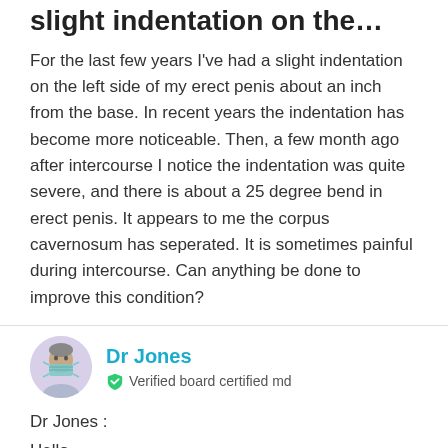slight indentation on the…
For the last few years I've had a slight indentation on the left side of my erect penis about an inch from the base. In recent years the indentation has become more noticeable. Then, a few month ago after intercourse I notice the indentation was quite severe, and there is about a 25 degree bend in erect penis. It appears to me the corpus cavernosum has seperated. It is sometimes painful during intercourse. Can anything be done to improve this condition?
[Figure (photo): Circular avatar photo of Dr Jones wearing a medical mask, with lavender/gray background]
Dr Jones
Verified board certified md
Dr Jones :
Hello
Dr Jones :
Welcome to justanswer.